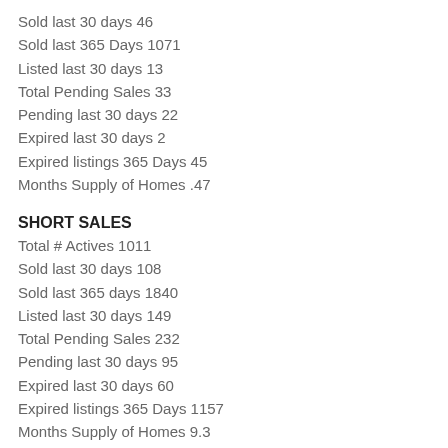Sold last 30 days 46
Sold last 365 Days 1071
Listed last 30 days 13
Total Pending Sales 33
Pending last 30 days 22
Expired last 30 days 2
Expired listings 365 Days 45
Months Supply of Homes .47
SHORT SALES
Total # Actives 1011
Sold last 30 days 108
Sold last 365 days 1840
Listed last 30 days 149
Total Pending Sales 232
Pending last 30 days 95
Expired last 30 days 60
Expired listings 365 Days 1157
Months Supply of Homes 9.3